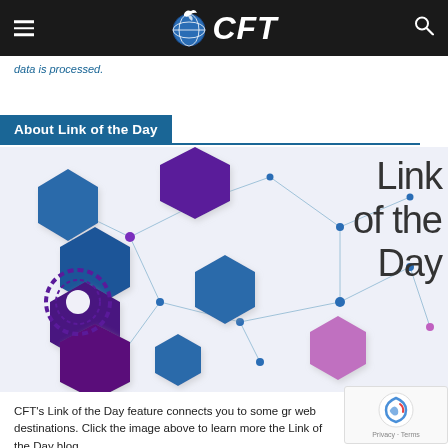CFT
data is processed.
About Link of the Day
[Figure (illustration): Network of colorful hexagons (blue, purple, pink) connected by thin lines on a light background, with overlaid text reading 'Link of the Day' in large light-weight font on the right side.]
CFT's Link of the Day feature connects you to some gr web destinations. Click the image above to learn more the Link of the Day blog.